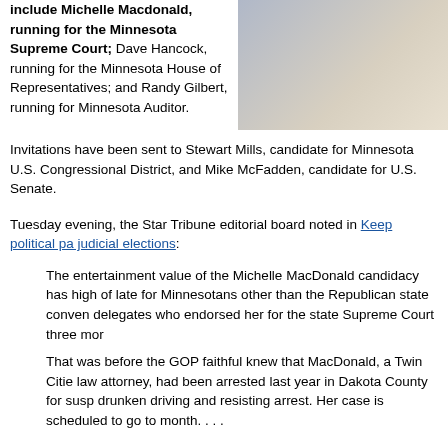include Michelle Macdonald, running for the Minnesota Supreme Court; Dave Hancock, running for the Minnesota House of Representatives; and Randy Gilbert, running for Minnesota Auditor.
[Figure (photo): Photo of a person at what appears to be a Republican event, partially cropped on the right side of the page]
Invitations have been sent to Stewart Mills, candidate for Minnesota U.S. Congressional District, and Mike McFadden, candidate for U.S. Senate.
Tuesday evening, the Star Tribune editorial board noted in Keep political pa judicial elections:
The entertainment value of the Michelle MacDonald candidacy has high of late for Minnesotans other than the Republican state conven delegates who endorsed her for the state Supreme Court three mor
That was before the GOP faithful knew that MacDonald, a Twin Citie law attorney, had been arrested last year in Dakota County for susp drunken driving and resisting arrest. Her case is scheduled to go to month. . . .
The Bemidji Republican Banquet will take place on September 18, the Pion According to an earlier article in the Star Tribune by Abby Simons, MacDor begins on September 15.
Perhaps by the night of the banquet, that legal proceeding will have settled internal tension among Republican candidates that the Strib editorial consi
The sideshow has included watching GOP luminaries squirm as the attempt to distance themselves from MacDonald without casting as